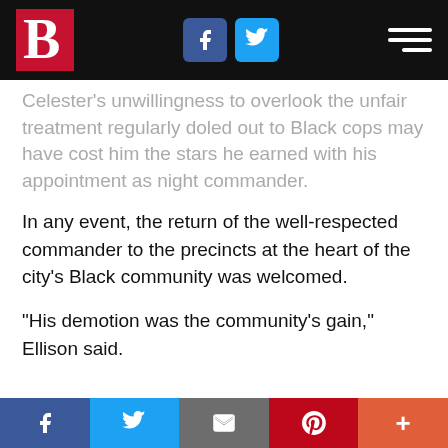[Figure (screenshot): Website navigation bar with a red B logo on the left, Facebook and Twitter icon buttons in the center, and a hamburger menu icon on the right, all on a black background]
Celester’s unwillingness to overlook the unfair treatment regularly doled out to Black cops may have cost him the stars he earned with his appointment as night commander.
In any event, the return of the well-respected commander to the precincts at the heart of the city’s Black community was welcomed.
“His demotion was the community’s gain,” Ellison said.
[Figure (screenshot): Social share bar at the bottom with five buttons: Facebook (dark blue), Twitter (light blue), Email (gray), Pinterest (red), and More/Plus (orange-red)]